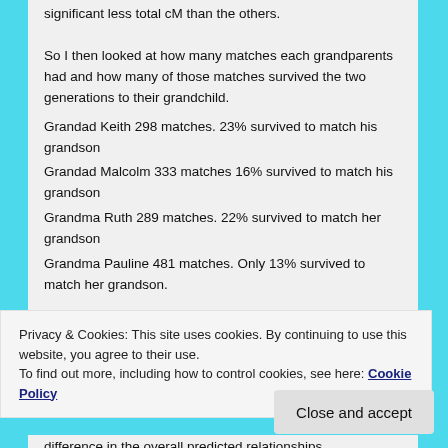significant less total cM than the others.
So I then looked at how many matches each grandparents had and how many of those matches survived the two generations to their grandchild.
Grandad Keith 298 matches. 23% survived to match his grandson
Grandad Malcolm 333 matches 16% survived to match his grandson
Grandma Ruth 289 matches. 22% survived to match her grandson
Grandma Pauline 481 matches. Only 13% survived to match her grandson.
Privacy & Cookies: This site uses cookies. By continuing to use this website, you agree to their use.
To find out more, including how to control cookies, see here: Cookie Policy
Close and accept
difference in the overall predicted relationships